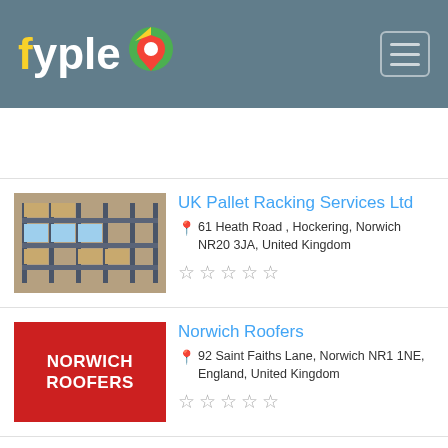fyple
[Figure (screenshot): Advertisement space (blank)]
UK Pallet Racking Services Ltd
61 Heath Road , Hockering, Norwich NR20 3JA, United Kingdom
[Figure (illustration): 5 empty stars rating]
Norwich Roofers
92 Saint Faiths Lane, Norwich NR1 1NE, England, United Kingdom
[Figure (illustration): 5 empty stars rating]
Active Dustmats